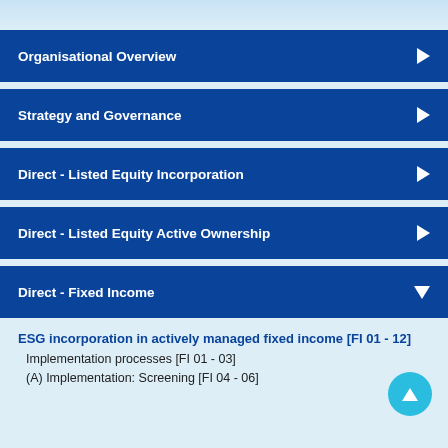Organisational Overview
Strategy and Governance
Direct - Listed Equity Incorporation
Direct - Listed Equity Active Ownership
Direct - Fixed Income
ESG incorporation in actively managed fixed income [FI 01 - 12]
Implementation processes [FI 01 - 03]
(A) Implementation: Screening [FI 04 - 06]